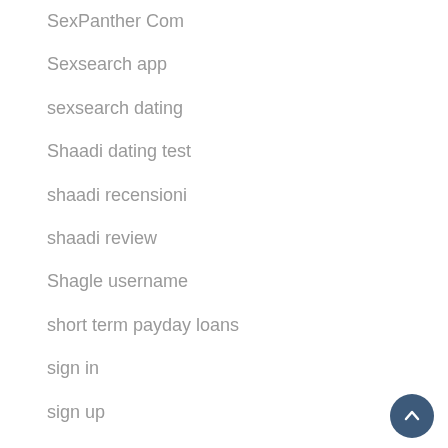SexPanther Com
Sexsearch app
sexsearch dating
Shaadi dating test
shaadi recensioni
shaadi review
Shagle username
short term payday loans
sign in
sign up
silverdaddies adult dating online
silverdaddies review